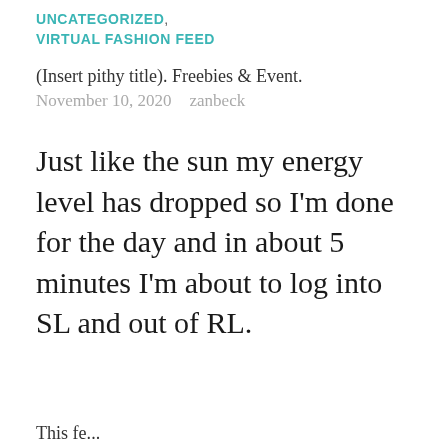UNCATEGORIZED,
VIRTUAL FASHION FEED
(Insert pithy title). Freebies & Event.
November 10, 2020   zanbeck
Just like the sun my energy level has dropped so I'm done for the day and in about 5 minutes I'm about to log into SL and out of RL.
This fe...